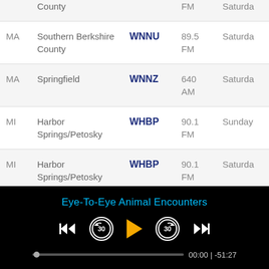| State | City | Call Sign | Frequency | Day |
| --- | --- | --- | --- | --- |
| MA | Southern Berkshire County | WNNU | 89.5 FM | Saturday |
| MA | Springfield | WNNZ | 640 AM | Saturday |
| MI | Harbor Springs/Petosky | WHBP | 90.1 FM | Sunday |
| MI | Harbor Springs/Petosky | WHBP | 90.1 FM | Saturday |
| MI | Interlochen | WICA | 91.5 | Saturday |
[Figure (screenshot): Audio player bar showing 'Eye-To-Eye Animal Encounters' with playback controls (skip back, rewind 30s, play, forward 30s, skip forward), progress bar at 00:00 with -51:27 remaining]